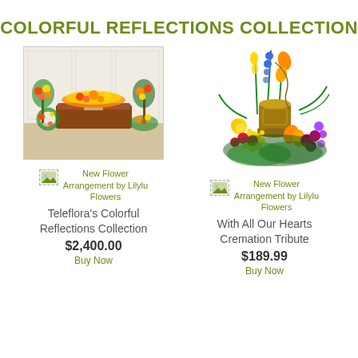COLORFUL REFLECTIONS COLLECTION
[Figure (photo): Funeral flower arrangement set with casket, wreaths, and standing sprays in bright colors]
[Figure (photo): Colorful cremation tribute floral arrangement with sunflowers, blue delphiniums, and lilies around a bronze urn]
New Flower Arrangement by Lilylu Flowers
Teleflora's Colorful Reflections Collection
$2,400.00
New Flower Arrangement by Lilylu Flowers
With All Our Hearts Cremation Tribute
$189.99